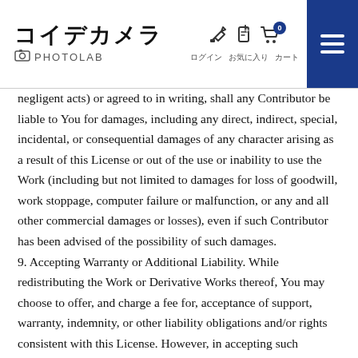コイデカメラ PHOTOLAB [navigation icons]
negligent acts) or agreed to in writing, shall any Contributor be liable to You for damages, including any direct, indirect, special, incidental, or consequential damages of any character arising as a result of this License or out of the use or inability to use the Work (including but not limited to damages for loss of goodwill, work stoppage, computer failure or malfunction, or any and all other commercial damages or losses), even if such Contributor has been advised of the possibility of such damages.
9. Accepting Warranty or Additional Liability. While redistributing the Work or Derivative Works thereof, You may choose to offer, and charge a fee for, acceptance of support, warranty, indemnity, or other liability obligations and/or rights consistent with this License. However, in accepting such obligations, You may act only on Your own behalf and on Your sole responsibility, not on behalf of any other Contributor, and only if You agree to indemnify, defend, and hold each Contributor harmless for any liability